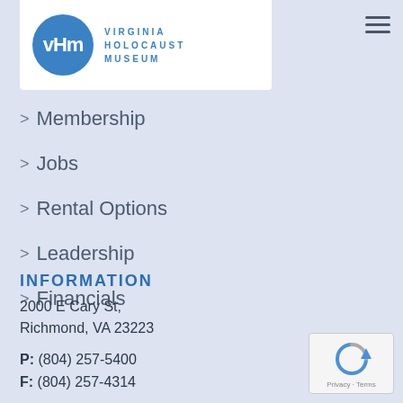[Figure (logo): Virginia Holocaust Museum logo with blue circle containing 'vHm' text and 'VIRGINIA HOLOCAUST MUSEUM' text to the right]
> Membership
> Jobs
> Rental Options
> Leadership
> Financials
INFORMATION
2000 E Cary St,
Richmond, VA 23223
P: (804) 257-5400
F: (804) 257-4314